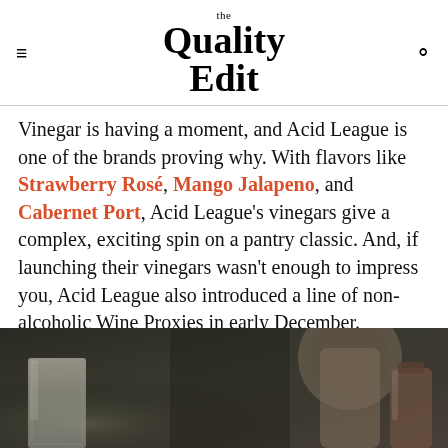the Quality Edit
Vinegar is having a moment, and Acid League is one of the brands proving why. With flavors like Strawberry Rosé, Mango Jalapeno, and Cabernet Port, Acid League's vinegars give a complex, exciting spin on a pantry classic. And, if launching their vinegars wasn't enough to impress you, Acid League also introduced a line of non-alcoholic Wine Proxies in early December.
[Figure (photo): Dark background photo showing glass bottles/containers on a table, partially visible at bottom of page]